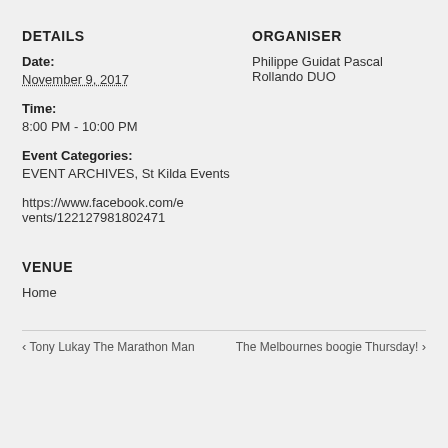DETAILS
Date:
November 9, 2017
Time:
8:00 PM - 10:00 PM
Event Categories:
EVENT ARCHIVES, St Kilda Events
https://www.facebook.com/events/122127981802471
ORGANISER
Philippe Guidat Pascal Rollando DUO
VENUE
Home
❮ Tony Lukay The Marathon Man   The Melbournes boogie Thursday! ❯